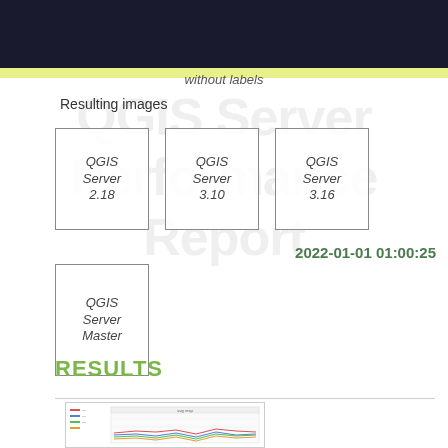QGIS Server Performance Report
without labels
Resulting images
[Figure (schematic): Three server version boxes: QGIS Server 2.18, QGIS Server 3.10, QGIS Server 3.16]
2022-01-01 01:00:25
[Figure (schematic): One server version box: QGIS Server Master]
RESULTS
[Figure (line-chart): Small thumbnail of a line chart showing server performance results]